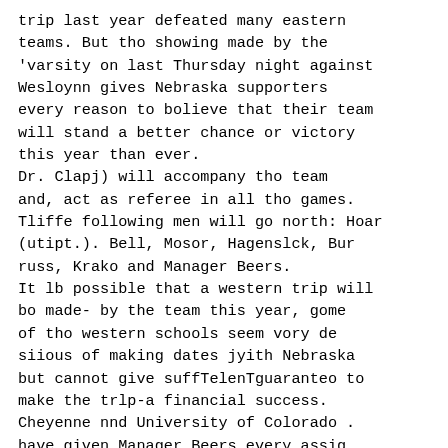trip last year defeated many eastern teams. But tho showing made by the 'varsity on last Thursday night against Wesloynn gives Nebraska supporters every reason to bolieve that their team will stand a better chance or victory this year than ever.
Dr. Clapj) will accompany tho team and, act as referee in all tho games. Tliffe following men will go north: Hoar (utipt.). Bell, Mosor, Hagenslck, Bur russ, Krako and Manager Beers.
It lb possible that a western trip will bo made- by the team this year, gome of tho western schools seem vory de siious of making dates jyith Nebraska but cannot give suffTelenTguaranteo to make the trlp-a financial success. Cheyenne nnd University of Colorado . have given Manager Beers every assig